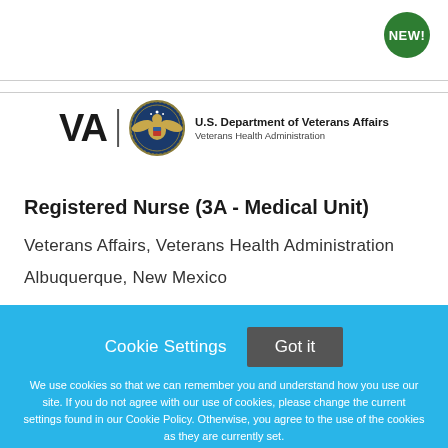[Figure (logo): NEW! badge in green circle, top right corner]
[Figure (logo): VA logo with U.S. Department of Veterans Affairs seal and text 'U.S. Department of Veterans Affairs / Veterans Health Administration']
Registered Nurse (3A - Medical Unit)
Veterans Affairs, Veterans Health Administration
Albuquerque, New Mexico
Cookie Settings  Got it

We use cookies so that we can remember you and understand how you use our site. If you do not agree with our use of cookies, please change the current settings found in our Cookie Policy. Otherwise, you agree to the use of the cookies as they are currently set.